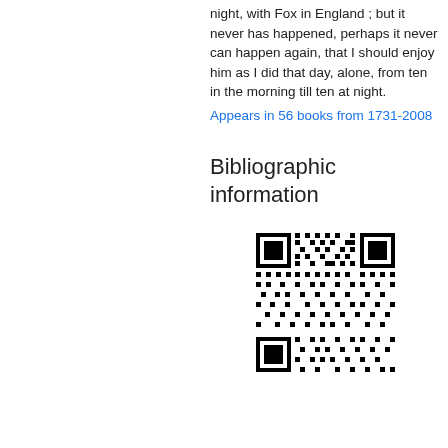night, with Fox in England ; but it never has happened, perhaps it never can happen again, that I should enjoy him as I did that day, alone, from ten in the morning till ten at night.
Appears in 56 books from 1731-2008
Bibliographic information
[Figure (other): QR code for bibliographic information]